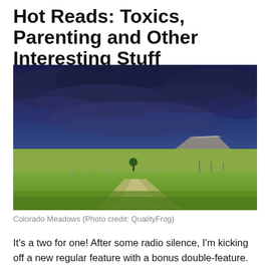Hot Reads: Toxics, Parenting and Other Interesting Stuff
[Figure (photo): Wide landscape photograph of Colorado meadows under a dramatic dark blue stormy sky, with a dirt road leading toward a flat-topped mesa in the distance, and lush green grass in the foreground.]
Colorado Meadows (Photo credit: QualityFrog)
It's a two for one! After some radio silence, I'm kicking off a new regular feature with a bonus double-feature. Lucky